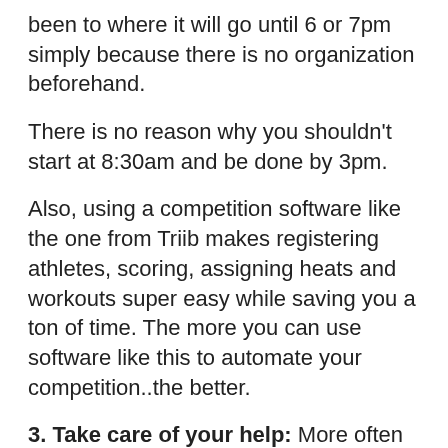been to where it will go until 6 or 7pm simply because there is no organization beforehand.
There is no reason why you shouldn't start at 8:30am and be done by 3pm.
Also, using a competition software like the one from Triib makes registering athletes, scoring, assigning heats and workouts super easy while saving you a ton of time. The more you can use software like this to automate your competition..the better.
3. Take care of your help: More often than not your judges and help will be your members. Take care of them...they are paying members...not slaves. In my competitions...every volunteer gets a t-shirt, free lunch, $25 off their next months